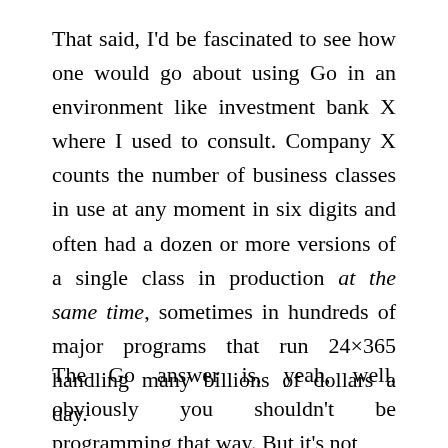That said, I'd be fascinated to see how one would go about using Go in an environment like investment bank X where I used to consult. Company X counts the number of business classes in use at any moment in six digits and often had a dozen or more versions of a single class in production at the same time, sometimes in hundreds of major programs that run 24×365 handling many billions of dollars a day.
The Go answer is, yeah, well, obviously you shouldn't be programming that way. But it's not